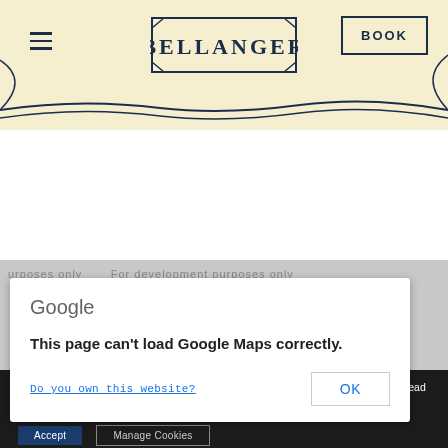[Figure (screenshot): Bellanger website header with cream/beige background, hamburger menu icon on left, BELLANGER logo in center with decorative border, BOOK button on right with navy border, dark navy curved decorative lines at bottom of header]
[Figure (screenshot): Google Maps error dialog overlaid on a map area showing 'For development purposes only' watermark text. Dialog shows Google logo text, error message 'This page can't load Google Maps correctly.', a 'Do you own this website?' link, and an OK button]
We are using cookies to give you the best experience on our website. Click here to read our Cookie Policy. You can find out more about which cookies we are using or switch them off in settings.
Accept
Manage Cookies